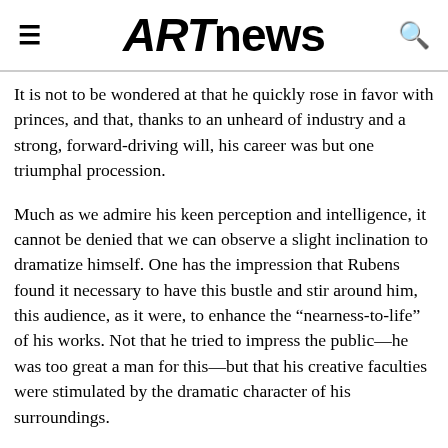ARTnews
It is not to be wondered at that he quickly rose in favor with princes, and that, thanks to an unheard of industry and a strong, forward-driving will, his career was but one triumphal procession.
Much as we admire his keen perception and intelligence, it cannot be denied that we can observe a slight inclination to dramatize himself. One has the impression that Rubens found it necessary to have this bustle and stir around him, this audience, as it were, to enhance the “nearness-to-life” of his works. Not that he tried to impress the public—he was too great a man for this—but that his creative faculties were stimulated by the dramatic character of his surroundings.
His intellectual power and his artistic self-mastery are evidenced by the fact that no other artist—again with the